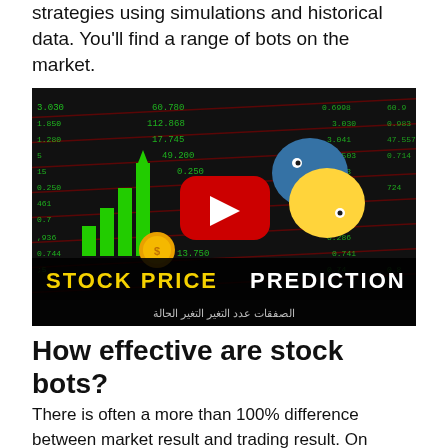strategies using simulations and historical data. You'll find a range of bots on the market.
[Figure (screenshot): YouTube video thumbnail showing 'STOCK PRICE PREDICTION' with green bar chart, Python logo, YouTube play button, and stock ticker number background]
How effective are stock bots?
There is often a more than 100% difference between market result and trading result. On